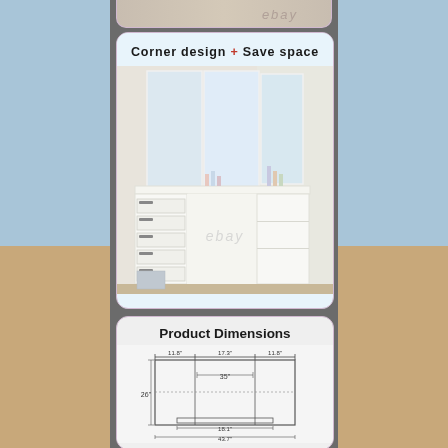[Figure (photo): Partial view of top of a vanity/dressing table product photo with pink/lavender border, cut off at top]
Corner design + Save space
[Figure (photo): Photo of a white corner vanity dressing table with tri-fold mirror, 5 drawers on left, open shelving on right, cosmetics on shelves, with ebay watermark]
Product Dimensions
[Figure (engineering-diagram): Technical dimension diagram of corner vanity table showing measurements: 11.8" + 17.3" + 11.8" across top (35" total span), 26" height, 18.1" bottom shelf, 43.7" total width, with additional measurements at bottom]